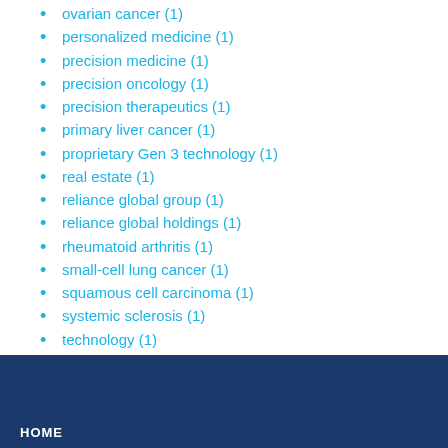ovarian cancer (1)
personalized medicine (1)
precision medicine (1)
precision oncology (1)
precision therapeutics (1)
primary liver cancer (1)
proprietary Gen 3 technology (1)
real estate (1)
reliance global group (1)
reliance global holdings (1)
rheumatoid arthritis (1)
small-cell lung cancer (1)
squamous cell carcinoma (1)
systemic sclerosis (1)
technology (1)
telemedicine (1)
REQORSA (1)
HOME